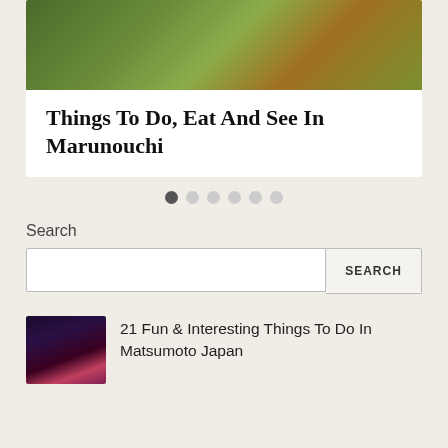[Figure (photo): Hero image of Marunouchi with green foliage and warm tones]
Things To Do, Eat And See In Marunouchi
[Figure (infographic): Pagination dots: 6 dots, first one active (dark), rest inactive (light gray)]
Search
[Figure (screenshot): Search input field with SEARCH button]
[Figure (photo): Thumbnail image of Matsumoto Japan at night with castle and cherry blossoms]
21 Fun & Interesting Things To Do In Matsumoto Japan